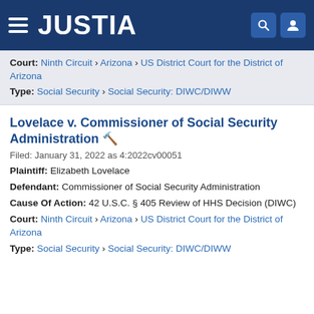JUSTIA
Court: Ninth Circuit › Arizona › US District Court for the District of Arizona
Type: Social Security › Social Security: DIWC/DIWW
Lovelace v. Commissioner of Social Security Administration
Filed: January 31, 2022 as 4:2022cv00051
Plaintiff: Elizabeth Lovelace
Defendant: Commissioner of Social Security Administration
Cause Of Action: 42 U.S.C. § 405 Review of HHS Decision (DIWC)
Court: Ninth Circuit › Arizona › US District Court for the District of Arizona
Type: Social Security › Social Security: DIWC/DIWW